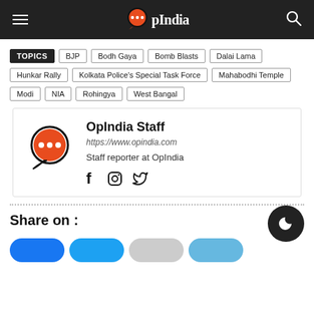OpIndia
TOPICS | BJP | Bodh Gaya | Bomb Blasts | Dalai Lama
Hunkar Rally | Kolkata Police's Special Task Force | Mahabodhi Temple
Modi | NIA | Rohingya | West Bangal
OpIndia Staff
https://www.opindia.com
Staff reporter at OpIndia
Share on :